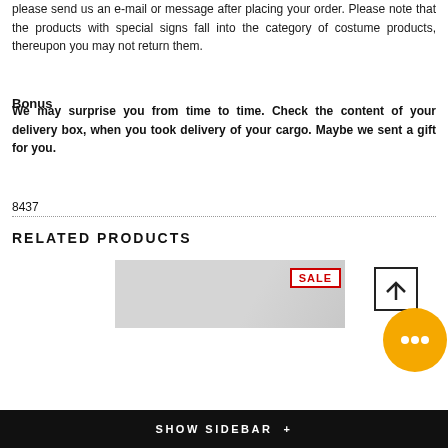please send us an e-mail or message after placing your order. Please note that the products with special signs fall into the category of costume products, thereupon you may not return them.
Bonus
We may surprise you from time to time. Check the content of your delivery box, when you took delivery of your cargo. Maybe we sent a gift for you.
8437
RELATED PRODUCTS
[Figure (photo): Product image with SALE badge overlay]
[Figure (other): Chat bubble icon and back-to-top button]
SHOW SIDEBAR +